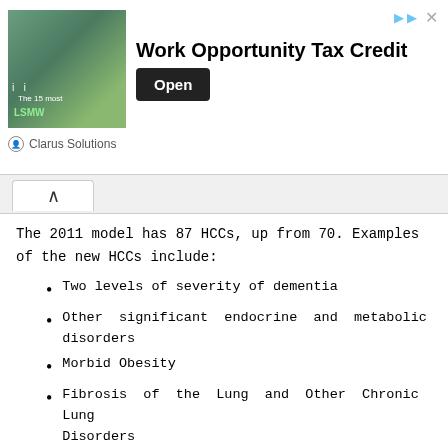[Figure (other): Advertisement banner for Work Opportunity Tax Credit by Clarus Solutions with an Open button]
The 2011 model has 87 HCCs, up from 70. Examples of the new HCCs include:
Two levels of severity of dementia
Other significant endocrine and metabolic disorders
Morbid Obesity
Fibrosis of the Lung and Other Chronic Lung Disorders
Exudative Macular Degeneration